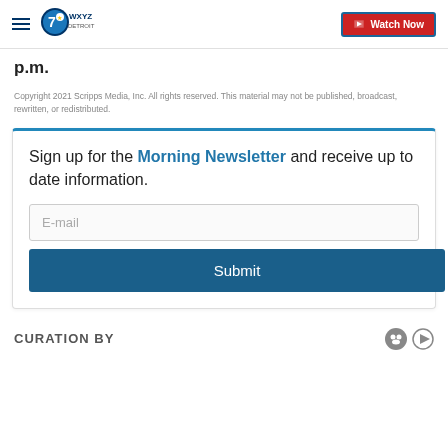WXYZ Detroit - Watch Now
p.m.
Copyright 2021 Scripps Media, Inc. All rights reserved. This material may not be published, broadcast, rewritten, or redistributed.
Sign up for the Morning Newsletter and receive up to date information.
CURATION BY